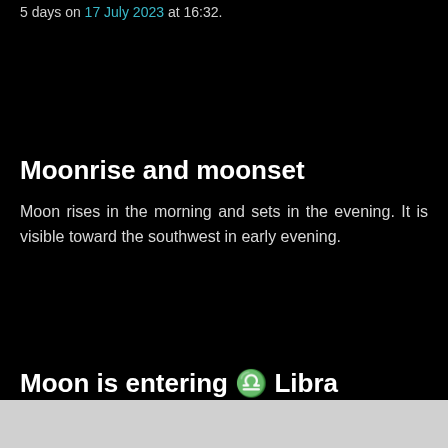5 days on 17 July 2023 at 16:32.
Moonrise and moonset
Moon rises in the morning and sets in the evening. It is visible toward the southwest in early evening.
Moon is entering ♎ Libra